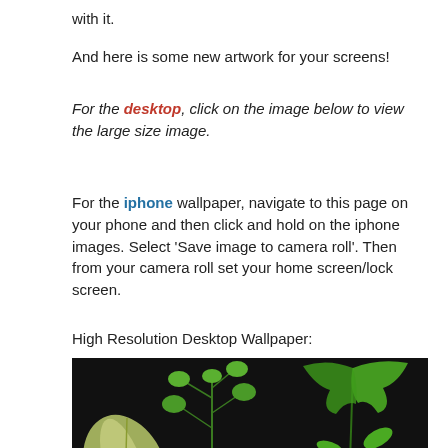with it.
And here is some new artwork for your screens!
For the desktop, click on the image below to view the large size image.
For the iphone wallpaper, navigate to this page on your phone and then click and hold on the iphone images. Select ‘Save image to camera roll’. Then from your camera roll set your home screen/lock screen.
High Resolution Desktop Wallpaper:
[Figure (photo): April calendar desktop wallpaper with botanical plant illustrations on a black background. Shows a large pale leaf on the left, green plants in center, and green leafy plants on the right. An APRIL calendar grid is visible in the lower center.]